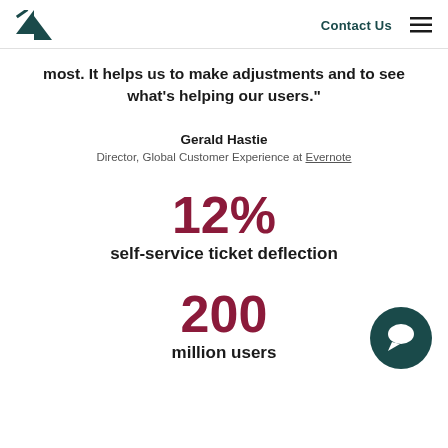Zendesk logo | Contact Us | Menu
most. It helps us to make adjustments and to see what's helping our users."
Gerald Hastie
Director, Global Customer Experience at Evernote
12%
self-service ticket deflection
200
million users